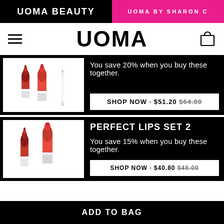UOMA BEAUTY | UOMA BY SHARON C
UOMA
[Figure (photo): Two red lipsticks and a white lip liner product shot on white background]
You save 20% when you buy these together.
SHOP NOW · $51.20 $64.00
PERFECT LIPS SET 2
[Figure (photo): Two red lipsticks product shot on white background]
You save 15% when you buy these together.
SHOP NOW · $40.80 $48.00
ADD TO BAG